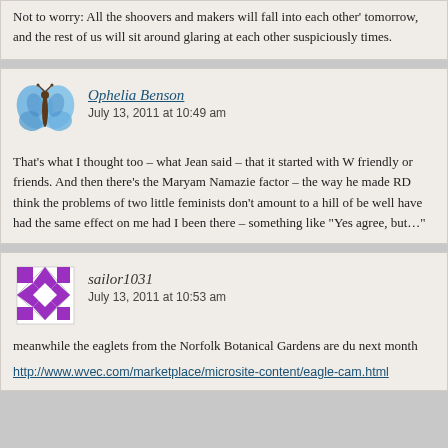Not to worry: All the shoovers and makers will fall into each other's arms tomorrow, and the rest of us will sit around glaring at each other suspiciously times.
[Figure (photo): Blue butterfly avatar icon for user Ophelia Benson]
Ophelia Benson
July 13, 2011 at 10:49 am
That's what I thought too – what Jean said – that it started with W friendly or friends. And then there's the Maryam Namazie factor – the way he made RD think the problems of two little feminists don't amount to a hill of be well have had the same effect on me had I been there – something like "Yes agree, but…"
[Figure (photo): Purple and white diamond pattern avatar icon for user sailor1031]
sailor1031
July 13, 2011 at 10:53 am
meanwhile the eaglets from the Norfolk Botanical Gardens are du next month
http://www.wvec.com/marketplace/microsite-content/eagle-cam.html